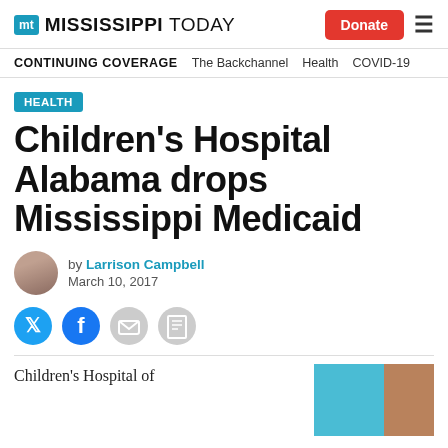Mississippi Today | Donate
CONTINUING COVERAGE  The Backchannel  Health  COVID-19
HEALTH
Children's Hospital Alabama drops Mississippi Medicaid
by Larrison Campbell
March 10, 2017
[Figure (illustration): Social sharing icons: Twitter, Facebook, Email, Print]
Children's Hospital of